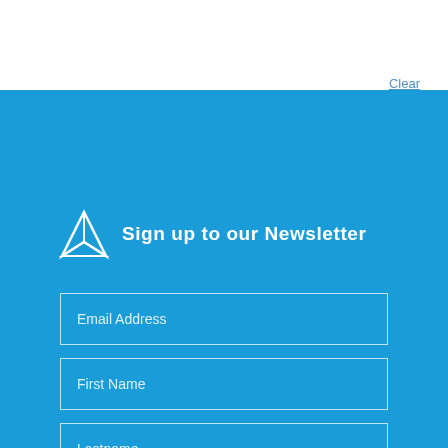Clear All
Sign up to our Newsletter
Email Address
First Name
Lastname
I would like to hear from Metabolics via Email
You can unsubscribe at any time by clicking the link in the footer of our emails. For information about our privacy practices, please